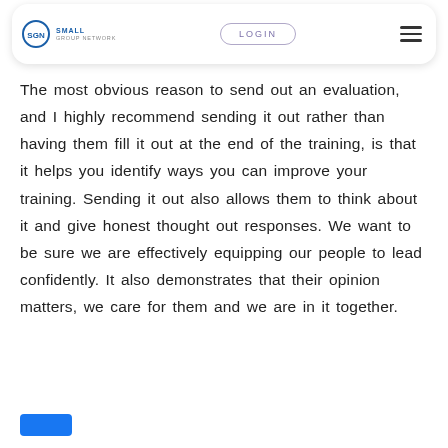SGN Small Group Network | LOGIN
The most obvious reason to send out an evaluation, and I highly recommend sending it out rather than having them fill it out at the end of the training, is that it helps you identify ways you can improve your training. Sending it out also allows them to think about it and give honest thought out responses. We want to be sure we are effectively equipping our people to lead confidently. It also demonstrates that their opinion matters, we care for them and we are in it together.